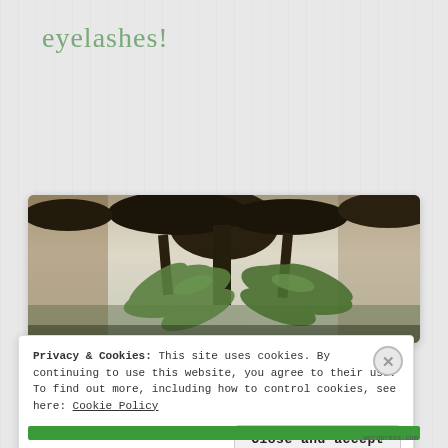eyelashes!
[Figure (photo): A photograph taken looking up at palm trees from below, showing dark silhouetted palm fronds at the top against a pale sky, with green palm leaves visible in the middle.]
Privacy & Cookies: This site uses cookies. By continuing to use this website, you agree to their use.
To find out more, including how to control cookies, see here: Cookie Policy
Close and accept